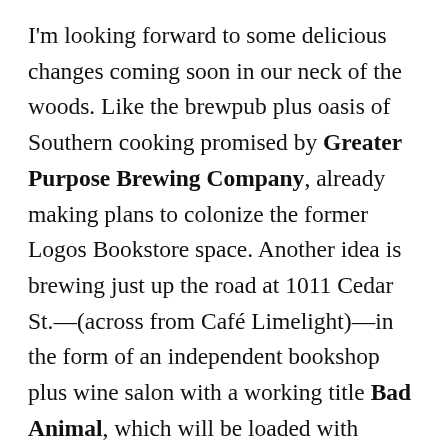I'm looking forward to some delicious changes coming soon in our neck of the woods. Like the brewpub plus oasis of Southern cooking promised by Greater Purpose Brewing Company, already making plans to colonize the former Logos Bookstore space. Another idea is brewing just up the road at 1011 Cedar St.—(across from Café Limelight)—in the form of an independent bookshop plus wine salon with a working title Bad Animal, which will be loaded with intriguing texts on literature and the humanities, and include a space to drink wine, listen to poetry readings, and wander through